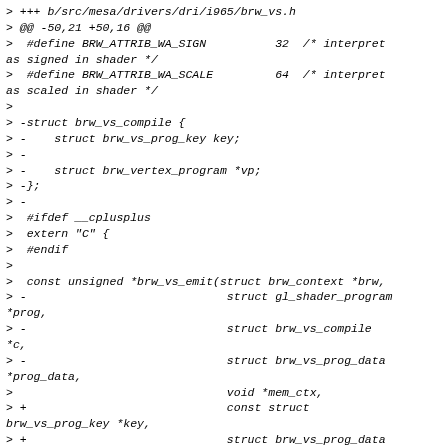> +++ b/src/mesa/drivers/dri/i965/brw_vs.h
> @@ -50,21 +50,16 @@
>  #define BRW_ATTRIB_WA_SIGN          32  /* interpret as signed in shader */
>  #define BRW_ATTRIB_WA_SCALE         64  /* interpret as scaled in shader */
> 
> -struct brw_vs_compile {
> -    struct brw_vs_prog_key key;
> - 
> -    struct brw_vertex_program *vp;
> -};
> - 
>  #ifdef __cplusplus
>  extern "C" {
>  #endif
> 
>  const unsigned *brw_vs_emit(struct brw_context *brw,
> -                             struct gl_shader_program *prog,
> -                             struct brw_vs_compile *c,
> -                             struct brw_vs_prog_data *prog_data,
>                              void *mem_ctx,
> +                             const struct brw_vs_prog_key *key,
> +                             struct brw_vs_prog_data *prog_data,
> +                             struct gl_vertex_program